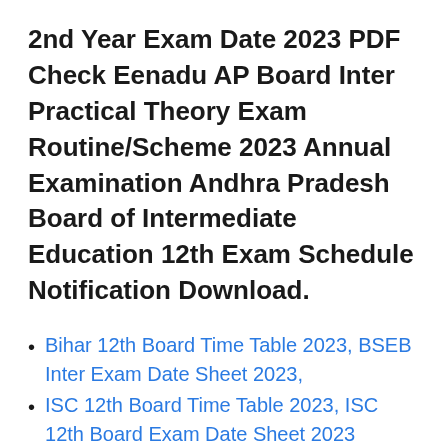2nd Year Exam Date 2023 PDF Check Eenadu AP Board Inter Practical Theory Exam Routine/Scheme 2023 Annual Examination Andhra Pradesh Board of Intermediate Education 12th Exam Schedule Notification Download.
Bihar 12th Board Time Table 2023, BSEB Inter Exam Date Sheet 2023,
ISC 12th Board Time Table 2023, ISC 12th Board Exam Date Sheet 2023
Gujarat 12th Board Exam Time Table 2023, GSEB HSC Exam Date Sheet 2023